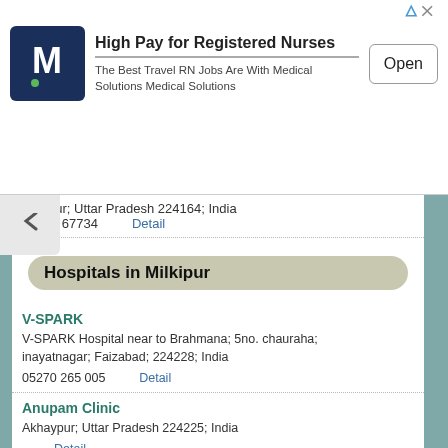[Figure (other): Advertisement banner: Medical Solutions logo (M), 'High Pay for Registered Nurses', 'The Best Travel RN Jobs Are With Medical Solutions Medical Solutions', with Open button]
milkipur; Uttar Pradesh 224164; India
73797 67734    Detail
Hospitals in Milkipur
V-SPARK
V-SPARK Hospital near to Brahmana; 5no. chauraha; inayatnagar; Faizabad; 224228; India
05270 265 005    Detail
Anupam Clinic
Akhaypur; Uttar Pradesh 224225; India
    Detail
Prathmik Swasth Kendra
Inayat Nagar - Amaniganj Rd; Kinauli; Uttar Pradesh 224228; India
    Detail
Pashu Chikitsalay
Inayat Nagar - Amaniganj Rd; Kinauli; Uttar Pradesh 224228; India